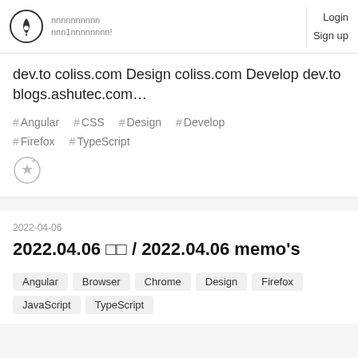nnnnnnnnnn nnn1nnnnnnnn! | Login Sign up
dev.to coliss.com Design coliss.com Develop dev.to blogs.ashutec.com…
# Angular  # CSS  # Design  # Develop
# Firefox  # TypeScript
2022-04-06
2022.04.06 □□ / 2022.04.06 memo's
Angular  Browser  Chrome  Design  Firefox
JavaScript  TypeScript